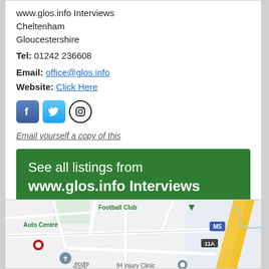www.glos.info Interviews
Cheltenham
Gloucestershire
Tel: 01242 236608
Email: office@glos.info
Website: Click Here
[Figure (illustration): Social media icons: Facebook, Twitter, Instagram]
Email yourself a copy of this
See all listings from
www.glos.info Interviews
[Figure (map): Google Maps showing area near M5 motorway junction 11A, with Football Club, Auto Centre, IH Injury Clinic visible]